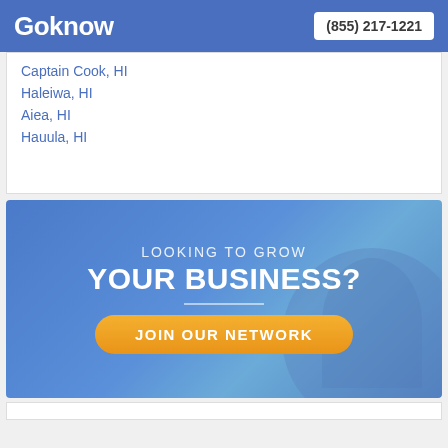Goknow | (855) 217-1221
Captain Cook, HI
Haleiwa, HI
Aiea, HI
Hauula, HI
[Figure (infographic): Advertisement banner with blue gradient background. Text reads 'LOOKING TO GROW YOUR BUSINESS?' with an orange 'JOIN OUR NETWORK' button.]